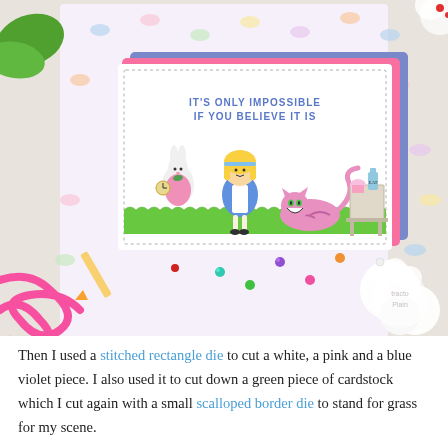[Figure (photo): A craft/card-making scene showing an Alice in Wonderland themed handmade greeting card with colored characters (Alice, White Rabbit, Cheshire Cat) on a colorful bow-patterned background. The card reads 'IT'S ONLY IMPOSSIBLE IF YOU BELIEVE IT IS'. Surrounding the card on a white wooden surface are pink ribbon, colorful sequin flowers, and white flowers.]
Then I used a stitched rectangle die to cut a white, a pink and a blue violet piece. I also used it to cut down a green piece of cardstock which I cut again with a small scalloped border die to stand for grass for my scene.